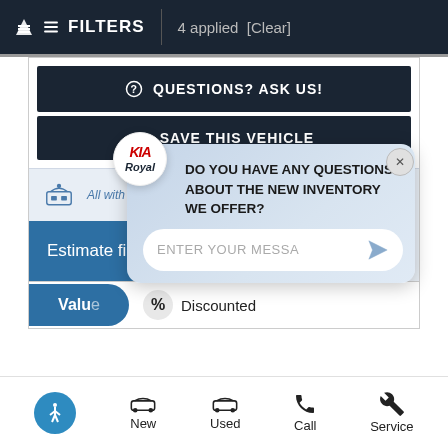FILTERS | 4 applied [Clear]
QUESTIONS? ASK US!
SAVE THIS VEHICLE
All with no impact to your credit score...
Estimate financing
[Figure (screenshot): Chat overlay with Kia Royal logo, message: DO YOU HAVE ANY QUESTIONS ABOUT THE NEW INVENTORY WE OFFER?, and ENTER YOUR MESSA input field]
Value
% Discounted
New | Used | Call | Service